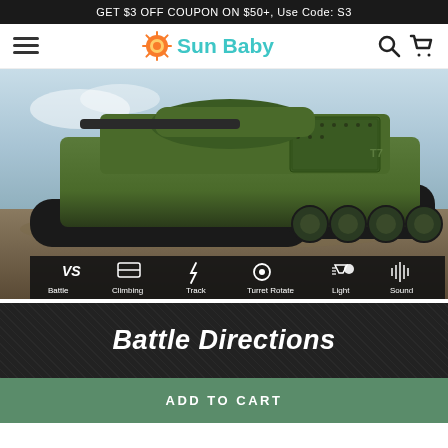GET $3 OFF COUPON ON $50+, Use Code: S3
[Figure (logo): Sun Baby logo with orange sun icon and teal text]
[Figure (photo): Green and black RC military tank toy driving through dirt terrain with action scene. Below the tank image is a features bar showing icons and labels: VS Battle, Climbing, Track, Turret Rotate, Light, Sound]
Battle Directions
ADD TO CART